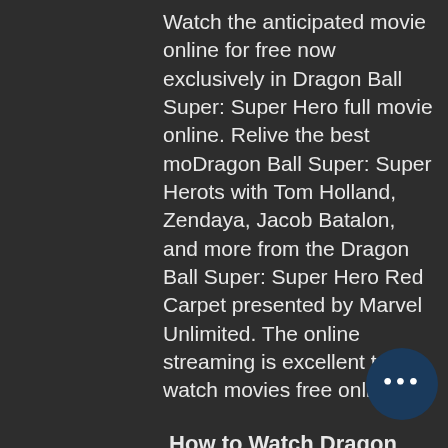Watch the anticipated movie online for free now exclusively in Dragon Ball Super: Super Hero full movie online. Relive the best moDragon Ball Super: Super Herots with Tom Holland, Zendaya, Jacob Batalon, and more from the Dragon Ball Super: Super Hero Red Carpet presented by Marvel Unlimited. The online streaming is excellent to watch movies free online.
How to Watch Dragon Ball Super: Super Hero streaming Online for Free?
The only easy way to watch Dragon Ball Super: Super Hero streaming free without downloading anything is by visiting this web page. You can stream Dragon Ball Super: Super Hero online here right now. This film will be released on 17 November 2022 and received an average rating with a 0 IM vote.